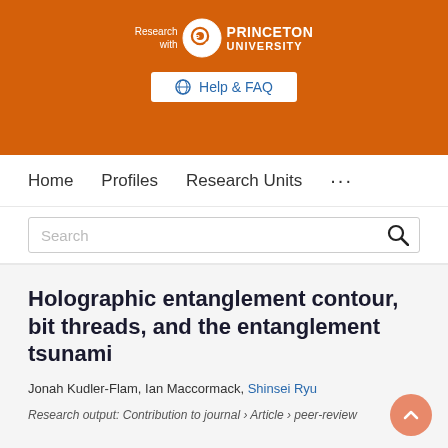[Figure (logo): Research with Princeton University logo on orange background with Help & FAQ button]
Home   Profiles   Research Units   ...
Search
Holographic entanglement contour, bit threads, and the entanglement tsunami
Jonah Kudler-Flam, Ian Maccormack, Shinsei Ryu
Research output: Contribution to journal › Article › peer-review